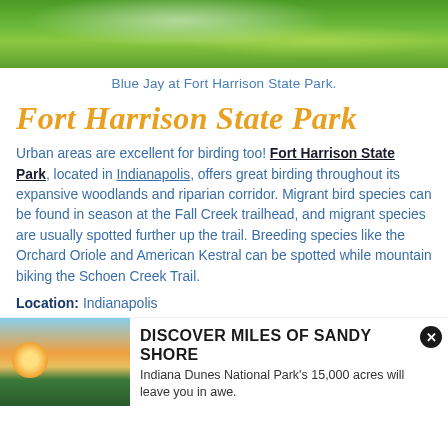[Figure (photo): Photo of green tree foliage and branches, partial view cropped at top of page — Blue Jay at Fort Harrison State Park]
Blue Jay at Fort Harrison State Park.
Fort Harrison State Park
Urban areas are excellent for birding too! Fort Harrison State Park, located in Indianapolis, offers great birding throughout its expansive woodlands and riparian corridor. Migrant bird species can be found in season at the Fall Creek trailhead, and migrant species are usually spotted further up the trail. Breeding species like the Orchard Oriole and American Kestral can be spotted while mountain biking the Schoen Creek Trail.
Location: Indianapolis
[Figure (photo): Advertisement banner: sunset over Indiana Dunes with sandy shore and grass silhouette. Text: DISCOVER MILES OF SANDY SHORE — Indiana Dunes National Park's 15,000 acres will leave you in awe.]